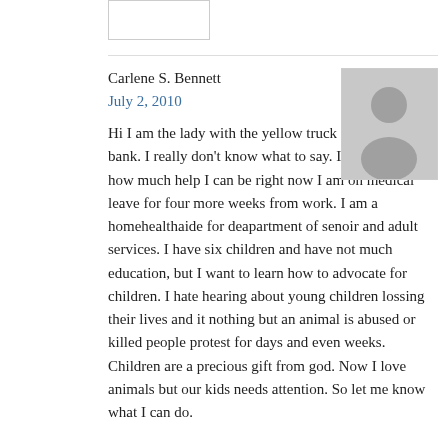[Figure (other): Small white rectangle placeholder box at top]
Carlene S. Bennett
July 2, 2010
[Figure (photo): Grey avatar/silhouette placeholder image for user profile]
Hi I am the lady with the yellow truck in the line at the bank. I really don't know what to say. I don't know how much help I can be right now I am on medical leave for four more weeks from work. I am a homehealthaide for deapartment of senoir and adult services. I have six children and have not much education, but I want to learn how to advocate for children. I hate hearing about young children lossing their lives and it nothing but an animal is abused or killed people protest for days and even weeks. Children are a precious gift from god. Now I love animals but our kids needs attention. So let me know what I can do.